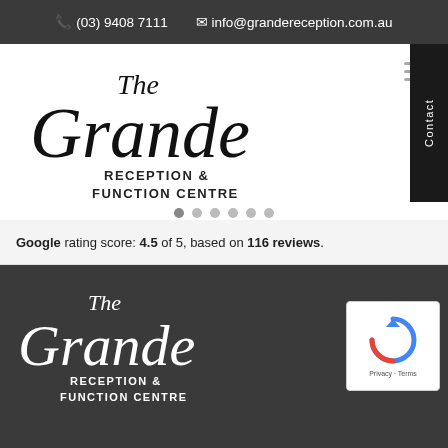(03) 9408 7111   info@grandereception.com.au
[Figure (logo): The Grande Reception & Function Centre logo — script font black on white]
Google rating score: 4.5 of 5, based on 116 reviews.
[Figure (logo): The Grande Reception & Function Centre logo — script font white on dark background]
[Figure (other): Google reCAPTCHA widget with Privacy and Terms links]